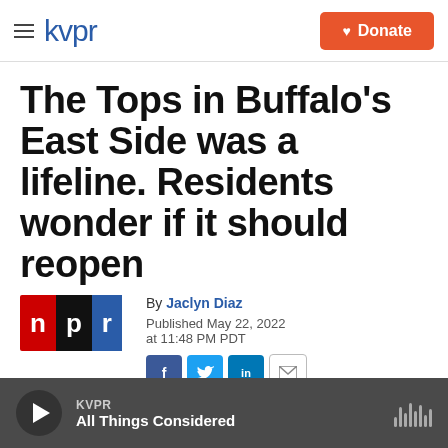kvpr | Donate
The Tops in Buffalo's East Side was a lifeline. Residents wonder if it should reopen
By Jaclyn Diaz
Published May 22, 2022 at 11:48 PM PDT
[Figure (screenshot): Partial image strip showing news photo at bottom of article]
KVPR | All Things Considered (audio player)